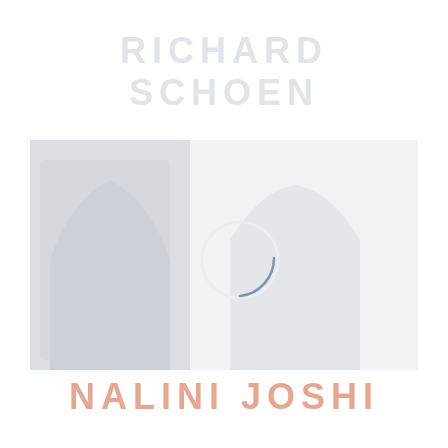RICHARD SCHOEN
[Figure (photo): A faded/washed out photograph showing two people, with a circular overlay element in the center of the image]
NALINI JOSHI